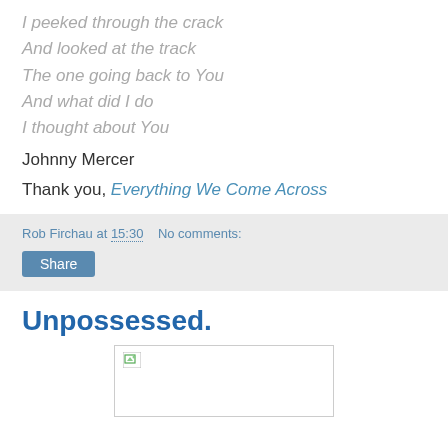I peeked through the crack
And looked at the track
The one going back to You
And what did I do
I thought about You
Johnny Mercer
Thank you, Everything We Come Across
Rob Firchau at 15:30   No comments:
Share
Unpossessed.
[Figure (photo): A broken/loading image placeholder in a white box with a border]